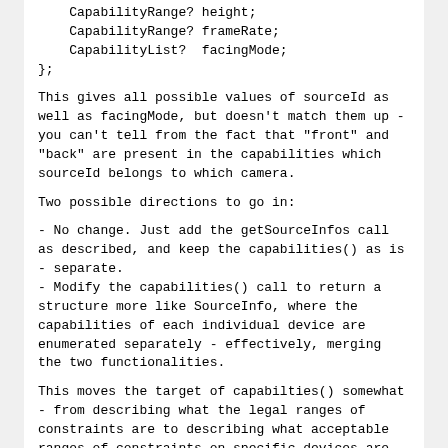CapabilityRange? height;
    CapabilityRange? frameRate;
    CapabilityList?  facingMode;
};
This gives all possible values of sourceId as well as facingMode, but doesn't match them up - you can't tell from the fact that "front" and "back" are present in the capabilities which sourceId belongs to which camera.
Two possible directions to go in:
- No change. Just add the getSourceInfos call as described, and keep the capabilities() as is - separate.
- Modify the capabilities() call to return a structure more like SourceInfo, where the capabilities of each individual device are enumerated separately - effectively, merging the two functionalities.
This moves the target of capabilties() somewhat - from describing what the legal ranges of constraints are to describing what acceptable ranges of constraints on specific devices are.
By nature, I'm conservative, so I'd prefer the first alternative. But I'm only one participant